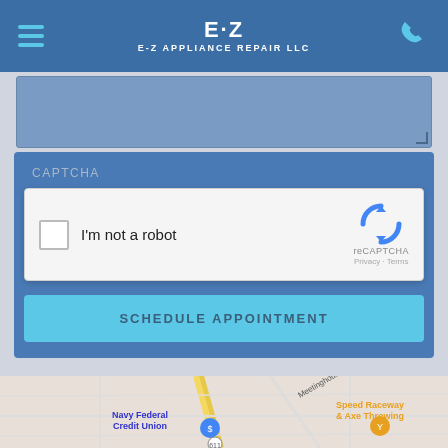[Figure (screenshot): E-Z Appliance Repair LLC mobile website header with hamburger menu, logo, and phone icon on blue background]
[Figure (screenshot): Partially visible text area input field with blue background]
CAPTCHA
[Figure (screenshot): reCAPTCHA widget with checkbox labeled 'I'm not a robot' and reCAPTCHA logo with Privacy and Terms links]
[Figure (screenshot): SCHEDULE APPOINTMENT button in light blue]
[Figure (map): Google Maps partial view showing Navy Federal Credit Union and Speed Raceway & Axe Throwing near Meetinghouse Rd and route 611]